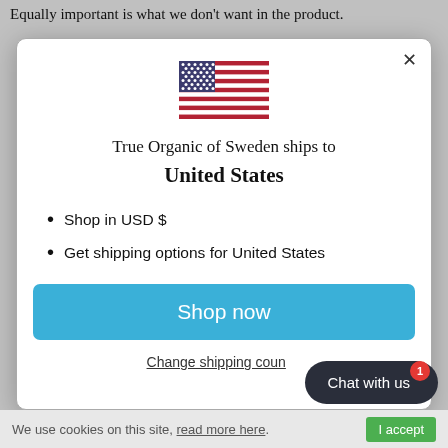Equally important is what we don't want in the product.
[Figure (screenshot): Modal dialog showing US flag, shipping country selector for True Organic of Sweden, with 'Shop now' button and 'Change shipping country' link]
True Organic of Sweden ships to United States
Shop in USD $
Get shipping options for United States
Change shipping country
Chat with us
We use cookies on this site, read more here.